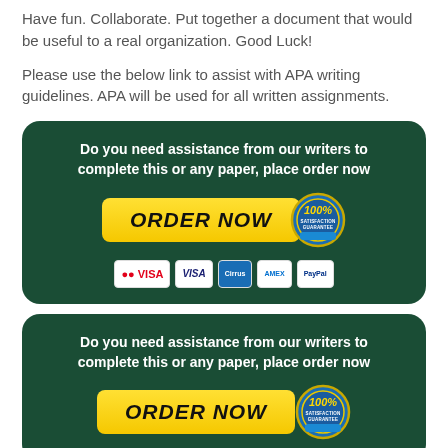Have fun. Collaborate. Put together a document that would be useful to a real organization. Good Luck!
Please use the below link to assist with APA writing guidelines. APA will be used for all written assignments.
[Figure (infographic): Dark green rounded banner with white bold text 'Do you need assistance from our writers to complete this or any paper, place order now', a yellow ORDER NOW button, a 100% satisfaction guarantee badge, and payment method icons (Mastercard, VISA, Cirrus, Amex, PayPal)]
[Figure (infographic): Second dark green rounded banner partially visible, with same text 'Do you need assistance from our writers to complete this or any paper, place order now' and partially visible ORDER NOW button with badge]